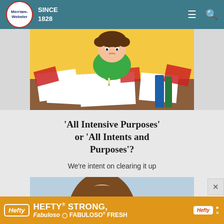Merriam-Webster SINCE 1828
[Figure (illustration): Cartoon illustration of a student with messy brown hair wearing a green shirt, sitting at a desk covered in papers and books, writing, with a yellow background and red paper scattered around]
'All Intensive Purposes' or 'All Intents and Purposes'?
We're intent on clearing it up
[Figure (photo): Photo of a woman with glasses and brown hair on a light blue background with text 'lay vs lie' visible]
Hefty HEFTY STRONG, FABULOSO FRESH advertisement